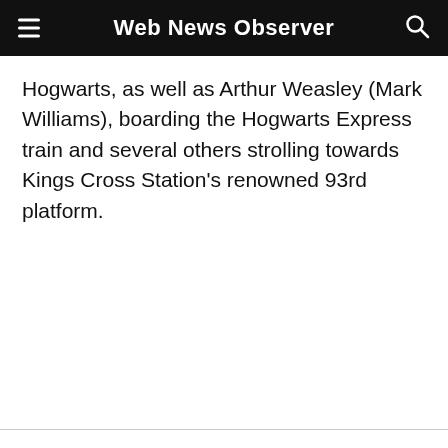Web News Observer
Hogwarts, as well as Arthur Weasley (Mark Williams), boarding the Hogwarts Express train and several others strolling towards Kings Cross Station's renowned 93rd platform.